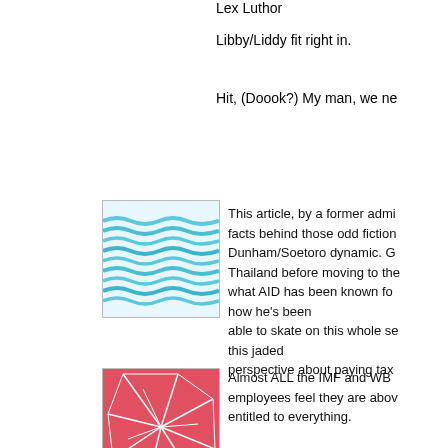Lex Luthor
Libby/Liddy fit right in.
Hit, (Doook?) My man, we ne
[Figure (illustration): Square thumbnail image with wavy horizontal blue lines on white background, resembling water or waves.]
This article, by a former admi facts behind those odd fiction Dunham/Soetoro dynamic. G Thailand before moving to the what AID has been known fo how he's been able to skate on this whole se this jaded perspective about paying tax
[Figure (illustration): Square thumbnail image with a red/pink geometric pattern of angular intersecting lines on a red background.]
Almost ALL the IMF and WB employees feel they are abov entitled to everything.
No. My storyline is complete